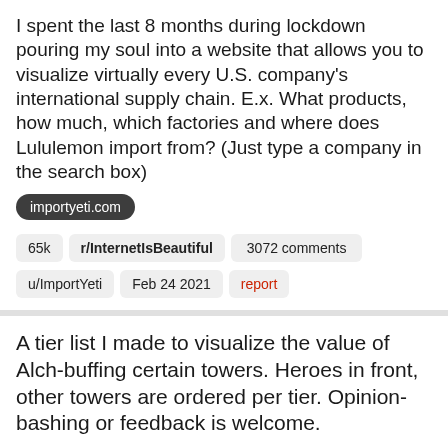I spent the last 8 months during lockdown pouring my soul into a website that allows you to visualize virtually every U.S. company's international supply chain. E.x. What products, how much, which factories and where does Lululemon import from? (Just type a company in the search box)
importyeti.com
65k
r/InternetIsBeautiful
3072 comments
u/ImportYeti
Feb 24 2021
report
A tier list I made to visualize the value of Alch-buffing certain towers. Heroes in front, other towers are ordered per tier. Opinion-bashing or feedback is welcome.
[Figure (screenshot): Dark thumbnail bar with 'Alch-buff Tier List' label text on left, a purple/brown game icon image, and black background filling the rest]